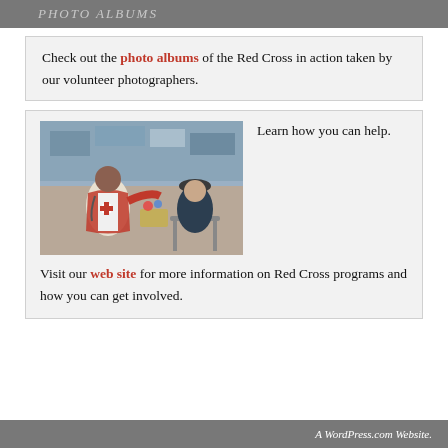PHOTO ALBUMS
Check out the photo albums of the Red Cross in action taken by our volunteer photographers.
[Figure (photo): Red Cross volunteer in red vest talking with an elderly person at a disaster relief shelter]
Learn how you can help.
Visit our web site for more information on Red Cross programs and how you can get involved.
A WordPress.com Website.